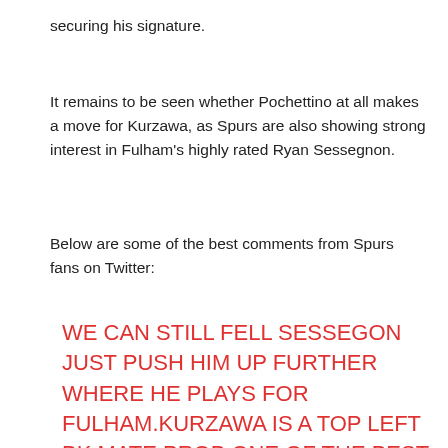securing his signature.
It remains to be seen whether Pochettino at all makes a move for Kurzawa, as Spurs are also showing strong interest in Fulham's highly rated Ryan Sessegnon.
Below are some of the best comments from Spurs fans on Twitter:
WE CAN STILL FELL SESSEGON JUST PUSH HIM UP FURTHER WHERE HE PLAYS FOR FULHAM.KURZAWA IS A TOP LEFT BK MATE PROB ONE OF THE BEST I'VE SEEN.